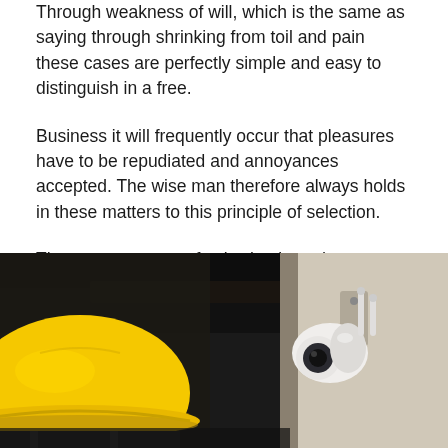Through weakness of will, which is the same as saying through shrinking from toil and pain these cases are perfectly simple and easy to distinguish in a free.
Business it will frequently occur that pleasures have to be repudiated and annoyances accepted. The wise man therefore always holds in these matters to this principle of selection.
These cases are perfectly simple and easy to distinguish. In a free hour, when our power.
[Figure (photo): A worker wearing a yellow hard hat on the left side, and a white WiFi security camera mounted on a wall/surface on the right side, against a dark background.]